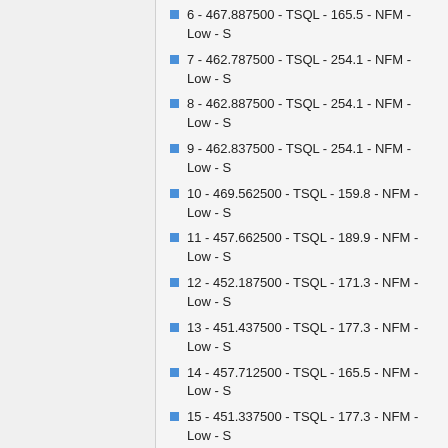6 - 467.887500 - TSQL - 165.5 - NFM - Low - S
7 - 462.787500 - TSQL - 254.1 - NFM - Low - S
8 - 462.887500 - TSQL - 254.1 - NFM - Low - S
9 - 462.837500 - TSQL - 254.1 - NFM - Low - S
10 - 469.562500 - TSQL - 159.8 - NFM - Low - S
11 - 457.662500 - TSQL - 189.9 - NFM - Low - S
12 - 452.187500 - TSQL - 171.3 - NFM - Low - S
13 - 451.437500 - TSQL - 177.3 - NFM - Low - S
14 - 457.712500 - TSQL - 165.5 - NFM - Low - S
15 - 451.337500 - TSQL - 177.3 - NFM - Low - S
16 - 467.800000 - TSQL - 254.1 - NFM - Low - S